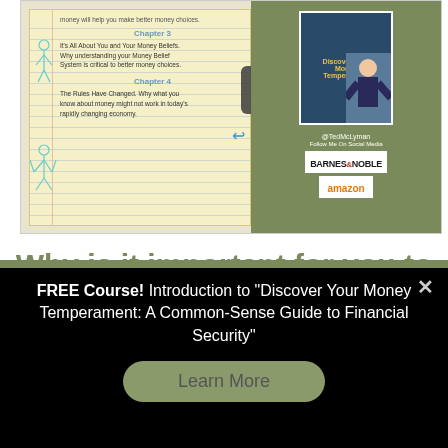[Figure (screenshot): Video thumbnail showing a notepad with chapter notes on the left, a play button in the center, and a book cover with a person photo and BARNES & NOBLE and amazon logos on the right against an olive/green background.]
Why is it important for you to discover your Money Temperament?
FREE Course! Introduction to "Discover Your Money Temperament: A Common-Sense Guide to Financial Security"
Learn More